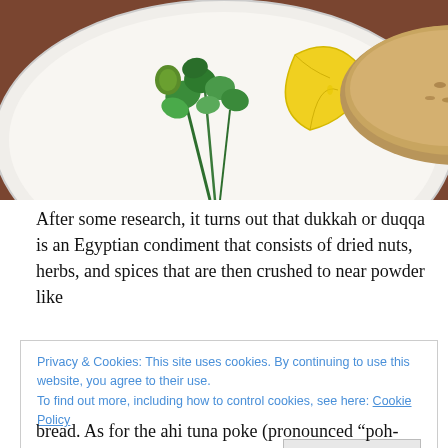[Figure (photo): A white plate with green herbs and olive, a lemon wedge, a mound of dukkah spice mix, and folded flatbread/pita. The plate is set on a dark reddish-brown table surface.]
After some research, it turns out that dukkah or duqqa is an Egyptian condiment that consists of dried nuts, herbs, and spices that are then crushed to near powder like
Privacy & Cookies: This site uses cookies. By continuing to use this website, you agree to their use.
To find out more, including how to control cookies, see here: Cookie Policy
[Close and accept button]
bread.  As for the ahi tuna poke (pronounced “poh-kay”), I